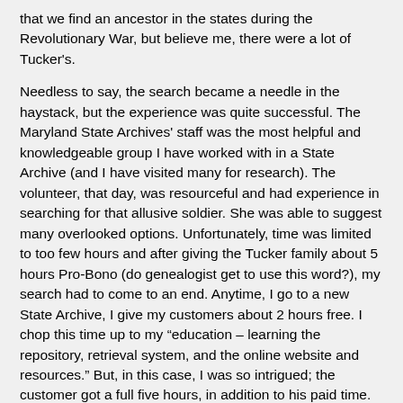that we find an ancestor in the states during the Revolutionary War, but believe me, there were a lot of Tucker's.
Needless to say, the search became a needle in the haystack, but the experience was quite successful. The Maryland State Archives' staff was the most helpful and knowledgeable group I have worked with in a State Archive (and I have visited many for research). The volunteer, that day, was resourceful and had experience in searching for that allusive soldier. She was able to suggest many overlooked options. Unfortunately, time was limited to too few hours and after giving the Tucker family about 5 hours Pro-Bono (do genealogist get to use this word?), my search had to come to an end. Anytime, I go to a new State Archive, I give my customers about 2 hours free. I chop this time up to my “education – learning the repository, retrieval system, and the online website and resources.” But, in this case, I was so intrigued; the customer got a full five hours, in addition to his paid time. (I applied the customer’s paid time to the NARA and DAR research I promised to do in DC.)